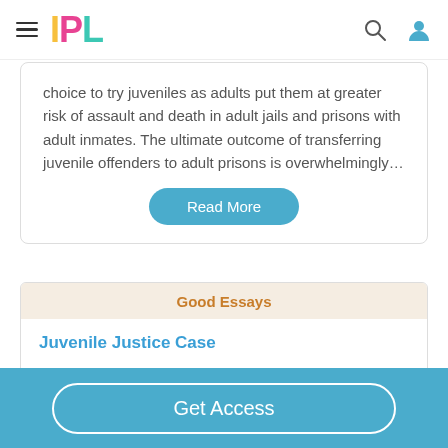IPL
choice to try juveniles as adults put them at greater risk of assault and death in adult jails and prisons with adult inmates. The ultimate outcome of transferring juvenile offenders to adult prisons is overwhelmingly…
Read More
Good Essays
Juvenile Justice Case
698 Words
Get Access